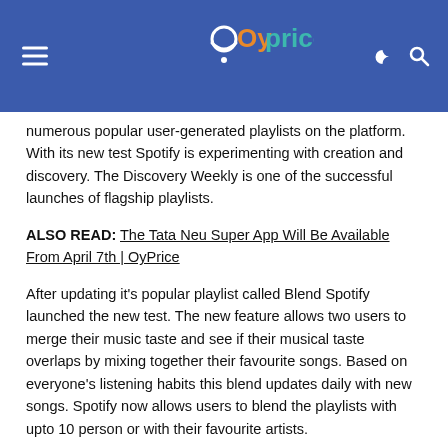Oyprice
numerous popular user-generated playlists on the platform. With its new test Spotify is experimenting with creation and discovery. The Discovery Weekly is one of the successful launches of flagship playlists.
ALSO READ: The Tata Neu Super App Will Be Available From April 7th | OyPrice
After updating it's popular playlist called Blend Spotify launched the new test. The new feature allows two users to merge their music taste and see if their musical taste overlaps by mixing together their favourite songs. Based on everyone's listening habits this blend updates daily with new songs. Spotify now allows users to blend the playlists with upto 10 person or with their favourite artists.